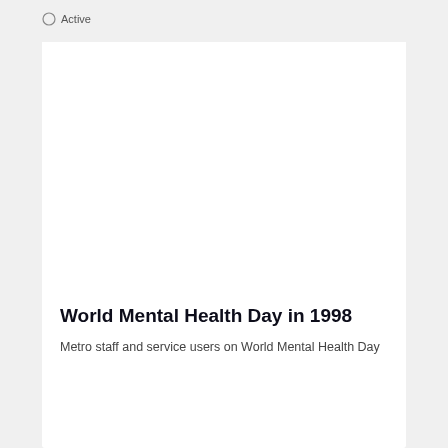Active
[Figure (photo): White rectangular image area representing a photo placeholder for World Mental Health Day 1998]
World Mental Health Day in 1998
Metro staff and service users on World Mental Health Day